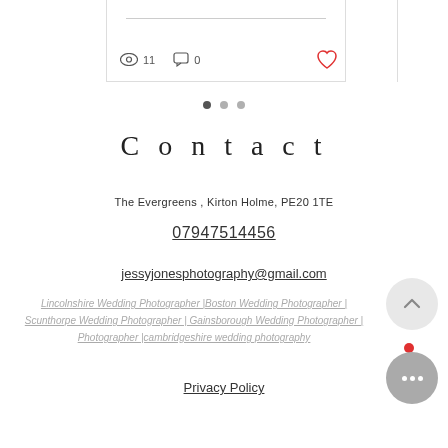[Figure (screenshot): Blog post card partial view showing a horizontal rule, view count (eye icon + 11), comment count (bubble icon + 0), and a red heart/like icon]
[Figure (infographic): Pagination dots: three circles, first filled dark (active), next two lighter gray]
Contact
The Evergreens , Kirton Holme, PE20 1TE
07947514456
jessyjonesphotography@gmail.com
Lincolnshire Wedding Photographer |Boston Wedding Photographer | Scunthorpe Wedding Photographer | Gainsborough Wedding Photographer |cambridgeshire wedding photography
Privacy Policy